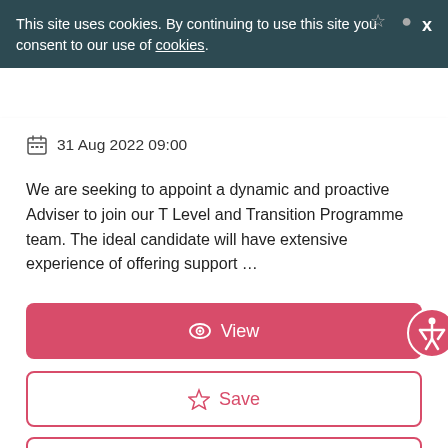This site uses cookies. By continuing to use this site you consent to our use of cookies.
31 Aug 2022 09:00
We are seeking to appoint a dynamic and proactive Adviser to join our T Level and Transition Programme team. The ideal candidate will have extensive experience of offering support ...
View
Save
Share
4 days ago